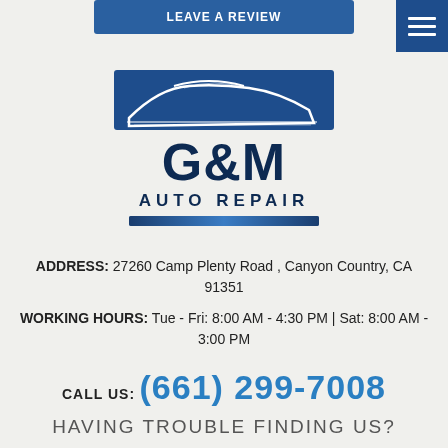[Figure (logo): G&M Auto Repair logo with stylized car silhouette above the text. Dark navy blue color scheme with horizontal blue bar accents.]
ADDRESS: 27260 Camp Plenty Road , Canyon Country, CA 91351
WORKING HOURS: Tue - Fri: 8:00 AM - 4:30 PM | Sat: 8:00 AM - 3:00 PM
CALL US: (661) 299-7008
HAVING TROUBLE FINDING US?